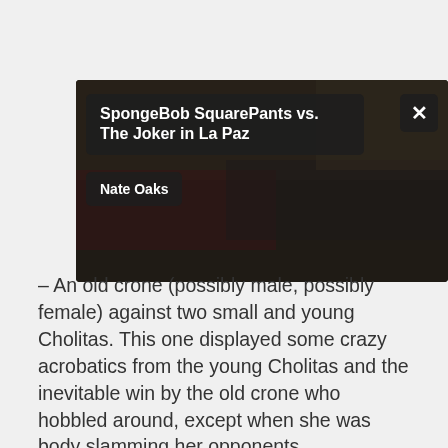[Figure (screenshot): Video thumbnail with dark overlay showing title 'SpongeBob SquarePants vs. The Joker in La Paz' and author 'Nate Oaks', with an X close button in the top right corner. Background shows a blurred/dark scene.]
– An old crone (possibly male, possibly female) against two small and young Cholitas. This one displayed some crazy acrobatics from the young Cholitas and the inevitable win by the old crone who hobbled around, except when she was body slamming her opponents.